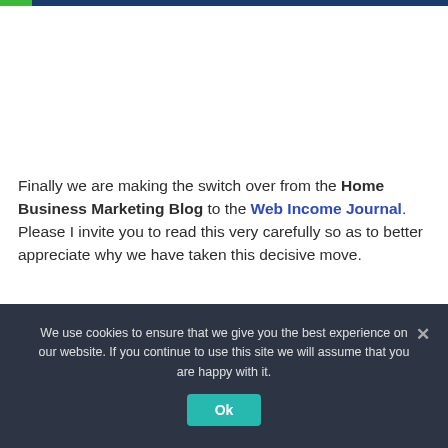Finally we are making the switch over from the Home Business Marketing Blog to the Web Income Journal. Please I invite you to read this very carefully so as to better appreciate why we have taken this decisive move.
We use cookies to ensure that we give you the best experience on our website. If you continue to use this site we will assume that you are happy with it.